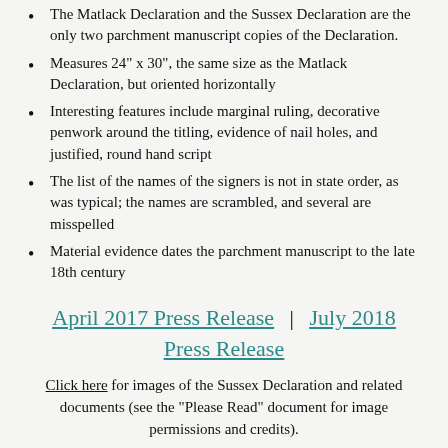The Matlack Declaration and the Sussex Declaration are the only two parchment manuscript copies of the Declaration.
Measures 24" x 30", the same size as the Matlack Declaration, but oriented horizontally
Interesting features include marginal ruling, decorative penwork around the titling, evidence of nail holes, and justified, round hand script
The list of the names of the signers is not in state order, as was typical; the names are scrambled, and several are misspelled
Material evidence dates the parchment manuscript to the late 18th century
April 2017 Press Release | July 2018 Press Release
Click here for images of the Sussex Declaration and related documents (see the "Please Read" document for image permissions and credits).
Please direct all all press inquiries to Peter Reuell, and all inquiries